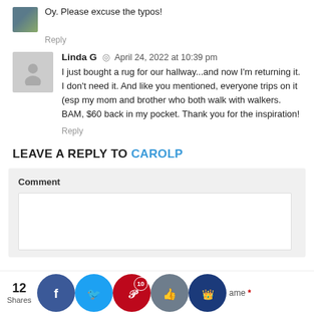Oy. Please excuse the typos!
Reply
Linda G  ◎  April 24, 2022 at 10:39 pm
I just bought a rug for our hallway...and now I'm returning it. I don't need it. And like you mentioned, everyone trips on it (esp my mom and brother who both walk with walkers. BAM, $60 back in my pocket. Thank you for the inspiration!
Reply
LEAVE A REPLY TO CAROLP
Comment
12 Shares
Name *